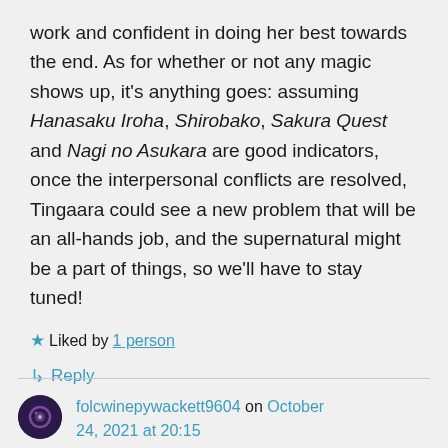work and confident in doing her best towards the end. As for whether or not any magic shows up, it's anything goes: assuming Hanasaku Iroha, Shirobako, Sakura Quest and Nagi no Asukara are good indicators, once the interpersonal conflicts are resolved, Tingaara could see a new problem that will be an all-hands job, and the supernatural might be a part of things, so we'll have to stay tuned!
★ Liked by 1 person
↳ Reply
folcwinepywackett9604 on October 24, 2021 at 20:15